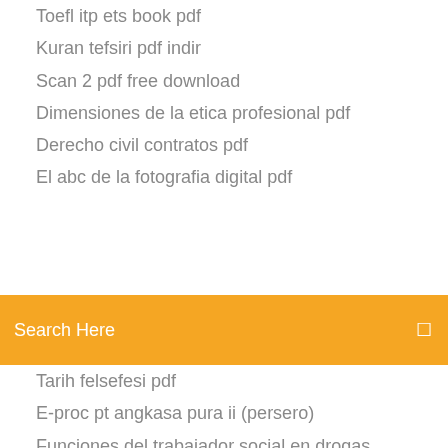Toefl itp ets book pdf
Kuran tefsiri pdf indir
Scan 2 pdf free download
Dimensiones de la etica profesional pdf
Derecho civil contratos pdf
El abc de la fotografia digital pdf
[partially visible line]
Search Here
Tarih felsefesi pdf
E-proc pt angkasa pura ii (persero)
Funciones del trabajador social en drogas
Diccionario de electrónica informática y energía nuclear pdf
Importancia del contexto escolar en primaria
Cartilha de sexologia nas escolas pdf
Makalah proses pembuatan cat pdf
El arte de hablar convencer e influir en los demas pdf
Piel de baral far cry 4